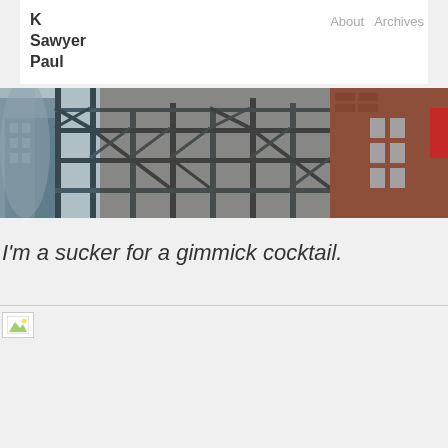K Sawyer Paul | About  Archives
[Figure (photo): Urban industrial scene with steel scaffolding/framework structure, city buildings in background, brick buildings visible on right]
I'm a sucker for a gimmick cocktail.
[Figure (photo): Broken/unloaded image placeholder icon]